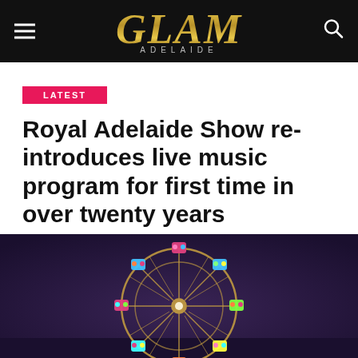GLAM ADELAIDE
LATEST
Royal Adelaide Show re-introduces live music program for first time in over twenty years
By Lisa Keller
Posted on May 2, 2022
[Figure (photo): Illuminated ferris wheel at night with colourful lights against a dark purple sky]